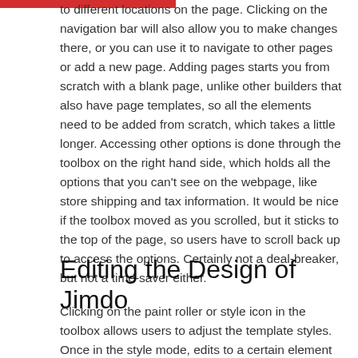to different locations on the page. Clicking on the navigation bar will also allow you to make changes there, or you can use it to navigate to other pages or add a new page. Adding pages starts you from scratch with a blank page, unlike other builders that also have page templates, so all the elements need to be added from scratch, which takes a little longer. Accessing other options is done through the toolbox on the right hand side, which holds all the options that you can't see on the webpage, like store shipping and tax information. It would be nice if the toolbox moved as you scrolled, but it sticks to the top of the page, so users have to scroll back up to access the options. Certainly not a deal-breaker, but not a time-saver either.
Editing the Design of Jimdo
Clicking on the paint roller or style icon in the toolbox allows users to adjust the template styles. Once in the style mode, edits to a certain element can be made by clicking on that item. Changing the font, for example is accomplished